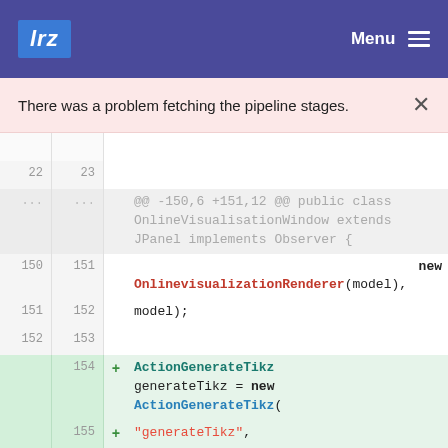lrz  Menu
There was a problem fetching the pipeline stages.
[Figure (screenshot): Code diff view showing Java source changes. Lines 22-23 context, then a block context header '@@ -150,6 +151,12 @@ public class OnlineVisualisationWindow extends JPanel implements Observer {'. Lines 150/151 show 'new OnlinevisualizationRenderer(model),', lines 151/152 show 'model);', lines 152/153 are blank, then added lines 154+ showing 'ActionGenerateTikz generateTikz = new ActionGenerateTikz(', line 155 showing '"generateTikz",', line 156 showing 'resources.getIcon("camera_tikz.png", iconWidth, iconHeight),']